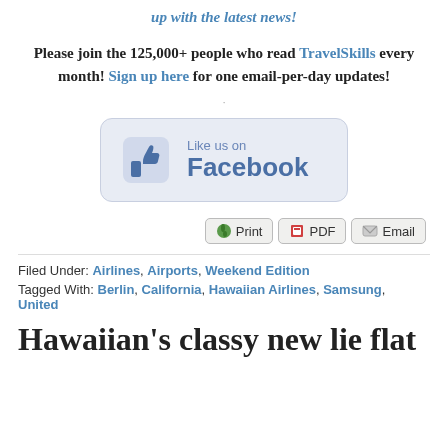up with the latest news!
Please join the 125,000+ people who read TravelSkills every month! Sign up here for one email-per-day updates!
[Figure (other): Like us on Facebook button with thumbs-up icon, rounded rectangle, blue on light blue/grey background]
[Figure (other): Print, PDF, Email share buttons row]
Filed Under: Airlines, Airports, Weekend Edition
Tagged With: Berlin, California, Hawaiian Airlines, Samsung, United
Hawaiian's classy new lie flat...